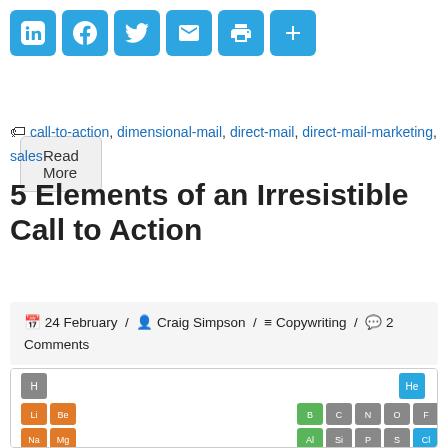[Figure (screenshot): Social sharing icons bar: LinkedIn, Facebook, Twitter, Email, Print, Share (plus sign) — all in blue rounded square buttons]
[Figure (screenshot): Read More button — grey rounded rectangle]
call-to-action, dimensional-mail, direct-mail, direct-mail-marketing, sales
5 Elements of an Irresistible Call to Action
24 February / Craig Simpson / Copywriting / 2 Comments
[Figure (photo): Partial periodic table of elements image showing colorful element tiles]